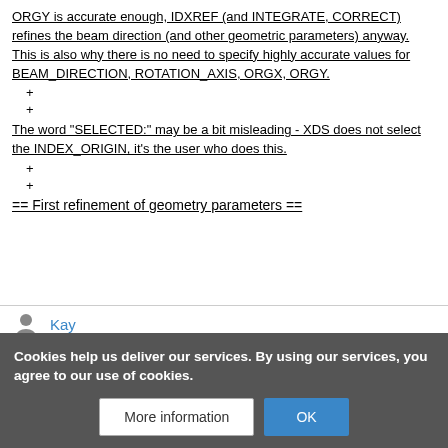ORGY is accurate enough, IDXREF (and INTEGRATE, CORRECT) refines the beam direction (and other geometric parameters) anyway. This is also why there is no need to specify highly accurate values for BEAM_DIRECTION, ROTATION_AXIS, ORGX, ORGY.
+
+
The word "SELECTED:" may be a bit misleading - XDS does not select the INDEX_ORIGIN, it's the user who does this.
+
+
== First refinement of geometry parameters ==
Kay
BUREAUCRATS
Edits
Cookies help us deliver our services. By using our services, you agree to our use of cookies.